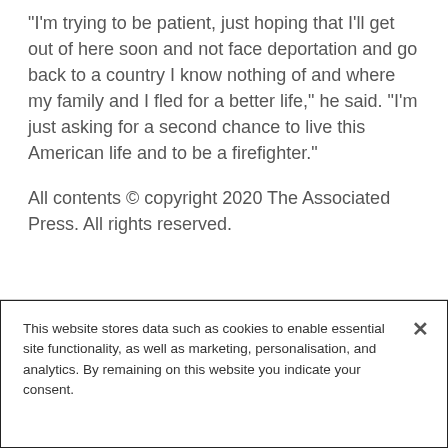“I’m trying to be patient, just hoping that I’ll get out of here soon and not face deportation and go back to a country I know nothing of and where my family and I fled for a better life,” he said. “I’m just asking for a second chance to live this American life and to be a firefighter.”
All contents © copyright 2020 The Associated Press. All rights reserved.
This website stores data such as cookies to enable essential site functionality, as well as marketing, personalisation, and analytics. By remaining on this website you indicate your consent.